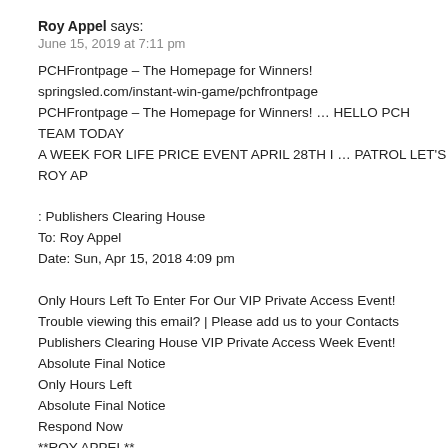Roy Appel says:
June 15, 2019 at 7:11 pm
PCHFrontpage – The Homepage for Winners!
springsled.com/instant-win-game/pchfrontpage
PCHFrontpage – The Homepage for Winners! … HELLO PCH TEAM TODAY A WEEK FOR LIFE PRICE EVENT APRIL 28TH I … PATROL LET'S ROY AP

: Publishers Clearing House
To: Roy Appel
Date: Sun, Apr 15, 2018 4:09 pm

Only Hours Left To Enter For Our VIP Private Access Event!
Trouble viewing this email? | Please add us to your Contacts
Publishers Clearing House VIP Private Access Week Event!
Absolute Final Notice
Only Hours Left
Absolute Final Notice
Respond Now
**ROY APPEL**
WE WILL BE COMPLETING THE PROCESS OF SELECTING A WINNER IN ACCESS WEEK EVENT VERY SOON AND THERE ARE ONLY HOURS LEF

ROY APPEL WANTS TO WIN COMPLIKANCE
Omar lopez says:
June 15, 2019 at 1:44 pm